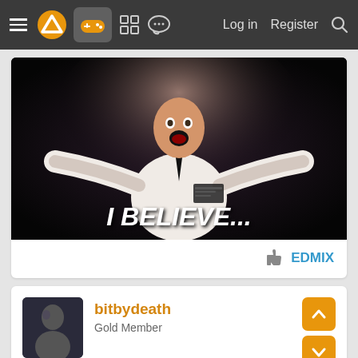Navigation bar with menu, logo, gamepad icon, grid icon, chat icon, Log in, Register, Search
[Figure (photo): Meme image of a man in white shirt and black tie with arms spread wide and text 'I BELIEVE...' overlaid at the bottom]
👍 EDMIX
bitbydeath
Gold Member
Mar 4, 2021
And a new Binding of Isaac.